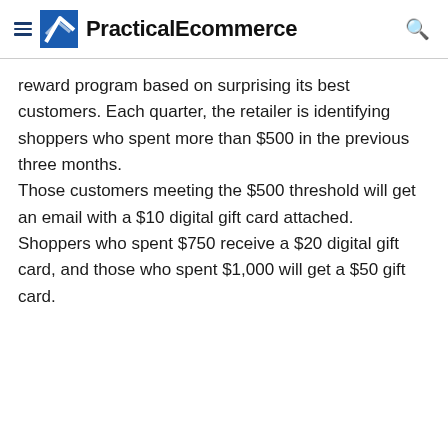PracticalEcommerce
reward program based on surprising its best customers. Each quarter, the retailer is identifying shoppers who spent more than $500 in the previous three months.
Those customers meeting the $500 threshold will get an email with a $10 digital gift card attached. Shoppers who spent $750 receive a $20 digital gift card, and those who spent $1,000 will get a $50 gift card.